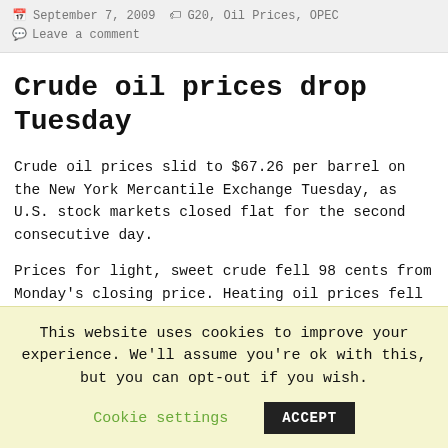September 7, 2009   G20, Oil Prices, OPEC   Leave a comment
Crude oil prices drop Tuesday
Crude oil prices slid to $67.26 per barrel on the New York Mercantile Exchange Tuesday, as U.S. stock markets closed flat for the second consecutive day.
Prices for light, sweet crude fell 98 cents from Monday's closing price. Heating oil prices fell marginally, down 0.0176 cents to $1.7705 per gallon. Reformulated blendstock gasoline dropped 0.017 cents to $1.913 per
This website uses cookies to improve your experience. We'll assume you're ok with this, but you can opt-out if you wish.
Cookie settings   ACCEPT